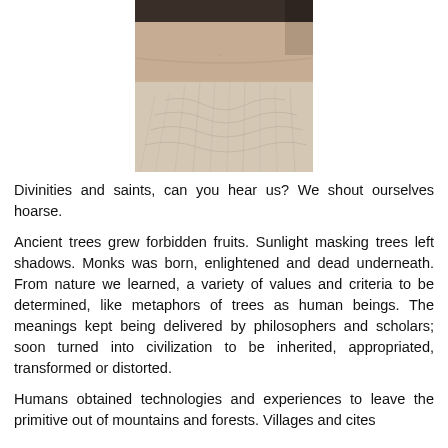[Figure (photo): Close-up photograph of a person's lower face showing a beard with fine, light-colored hair on skin]
Divinities and saints, can you hear us? We shout ourselves hoarse.
Ancient trees grew forbidden fruits. Sunlight masking trees left shadows. Monks was born, enlightened and dead underneath. From nature we learned, a variety of values and criteria to be determined, like metaphors of trees as human beings. The meanings kept being delivered by philosophers and scholars; soon turned into civilization to be inherited, appropriated, transformed or distorted.
Humans obtained technologies and experiences to leave the primitive out of mountains and forests. Villages and cites